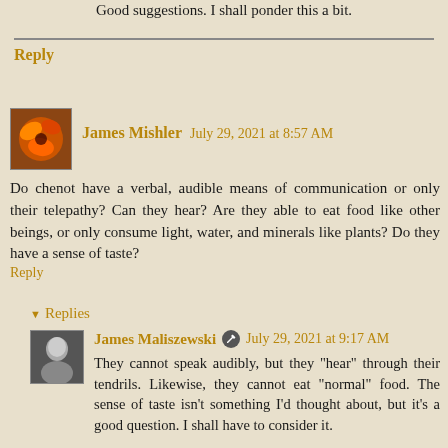Good suggestions. I shall ponder this a bit.
Reply
James Mishler  July 29, 2021 at 8:57 AM
Do chenot have a verbal, audible means of communication or only their telepathy? Can they hear? Are they able to eat food like other beings, or only consume light, water, and minerals like plants? Do they have a sense of taste?
Reply
▼ Replies
James Maliszewski  July 29, 2021 at 9:17 AM
They cannot speak audibly, but they "hear" through their tendrils. Likewise, they cannot eat "normal" food. The sense of taste isn't something I'd thought about, but it's a good question. I shall have to consider it.